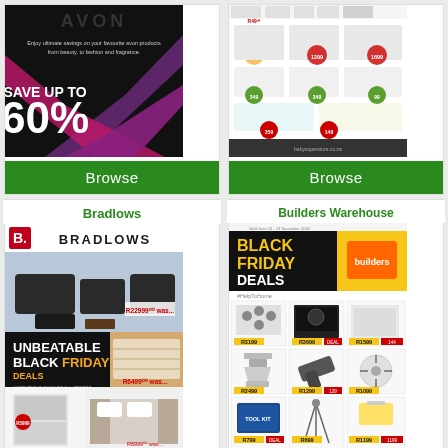[Figure (screenshot): Avon catalog page showing 'SAVE UP TO 60%' on black/pink/purple background]
Browse
[Figure (screenshot): Baby products catalog page with various baby items and prices]
Browse
Bradlows
Builders Warehouse
[Figure (screenshot): Bradlows catalog page showing furniture and 'UNBEATABLE BLACK FRIDAY DEALS']
[Figure (screenshot): Builders Warehouse catalog page showing 'BLACK FRIDAY DEALS' with tools and appliances]